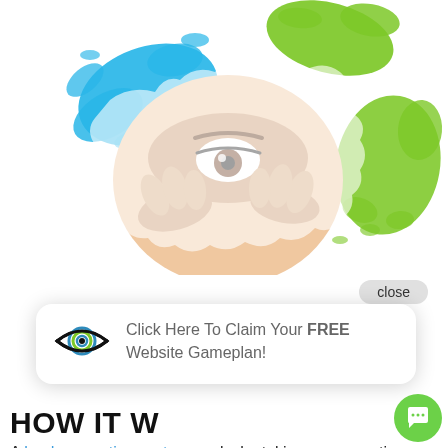[Figure (photo): A person peeking through a torn paper hole with one eye visible, surrounded by blue and green paint splashes on white background. The image is a marketing/website hero image.]
close
[Figure (infographic): A popup card with an eye logo icon and the text 'Click Here To Claim Your FREE Website Gameplan!']
HOW IT W
A lead generation system works by taking a prospective customer through a series of ema and small commitments leading to a call-to-action